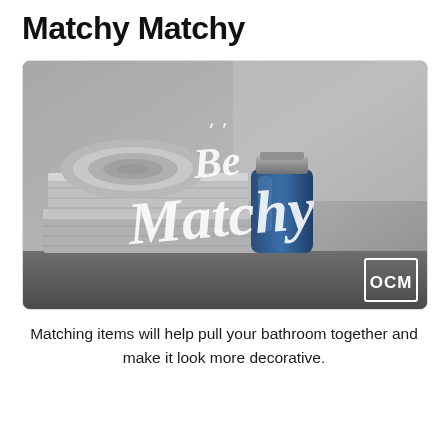Matchy Matchy
[Figure (photo): A bathroom scene with folded gray towels and a blue bottle of toiletry on a shelf, overlaid with white script text reading 'Be Matchy' and an OCM logo in the bottom right corner.]
Matching items will help pull your bathroom together and make it look more decorative.